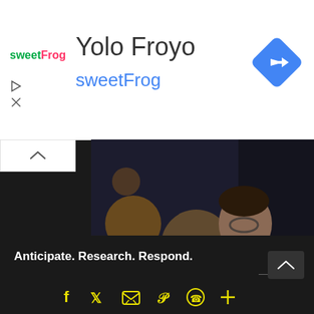Yolo Froyo
sweetFrog
[Figure (logo): sweetFrog logo in pink and green text]
[Figure (photo): Man in blue suit working on laptop at desk with bokeh lights in background and coffee cup on desk]
Anticipate. Research. Respond.
[Figure (infographic): Social media icons row: Facebook, Twitter, Email, Pinterest, WhatsApp, Plus]